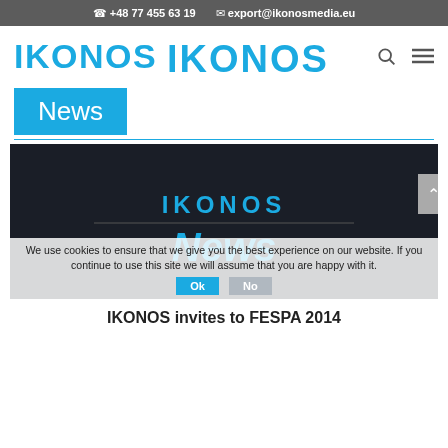+48 77 455 63 19   export@ikonosmedia.eu
[Figure (logo): IKONOS logo in blue and yellow letters]
News
[Figure (screenshot): Dark banner with IKONOS News branding on dark background, with cookie consent overlay and Ok/No buttons]
We use cookies to ensure that we give you the best experience on our website. If you continue to use this site we will assume that you are happy with it.
IKONOS invites to FESPA 2014